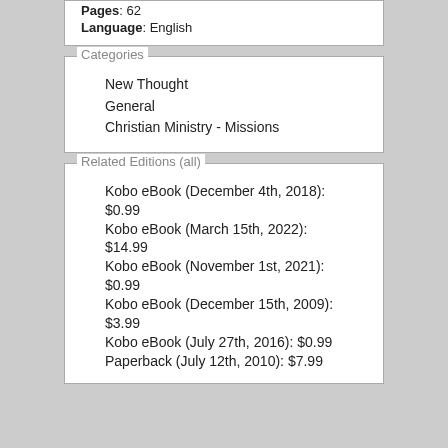Pages: 62
Language: English
Categories
New Thought
General
Christian Ministry - Missions
Related Editions (all)
Kobo eBook (December 4th, 2018): $0.99
Kobo eBook (March 15th, 2022): $14.99
Kobo eBook (November 1st, 2021): $0.99
Kobo eBook (December 15th, 2009): $3.99
Kobo eBook (July 27th, 2016): $0.99
Paperback (July 12th, 2010): $7.99